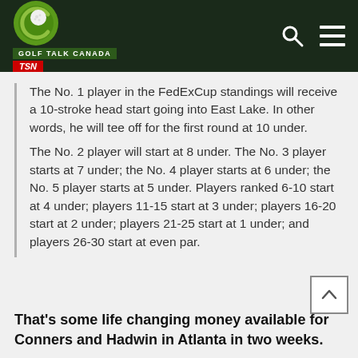[Figure (logo): Golf Talk Canada TSN logo with golf ball icon on dark green header bar with search and menu icons]
The No. 1 player in the FedExCup standings will receive a 10-stroke head start going into East Lake. In other words, he will tee off for the first round at 10 under.
The No. 2 player will start at 8 under. The No. 3 player starts at 7 under; the No. 4 player starts at 6 under; the No. 5 player starts at 5 under. Players ranked 6-10 start at 4 under; players 11-15 start at 3 under; players 16-20 start at 2 under; players 21-25 start at 1 under; and players 26-30 start at even par.
That’s some life changing money available for Conners and Hadwin in Atlanta in two weeks.